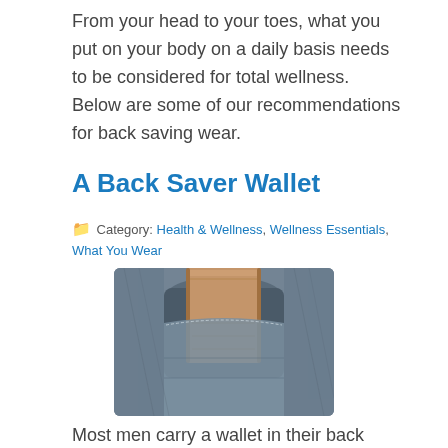From your head to your toes, what you put on your body on a daily basis needs to be considered for total wellness.  Below are some of our recommendations for back saving wear.
A Back Saver Wallet
Category: Health & Wellness, Wellness Essentials, What You Wear
[Figure (photo): A thick wallet sticking out of the back pocket of a pair of jeans]
Most men carry a wallet in their back pockets and in many cases it can be over a half an inch thick. Sitting on a half inch wedge for hours at a time over a period of years is one of the most overlooked causes of